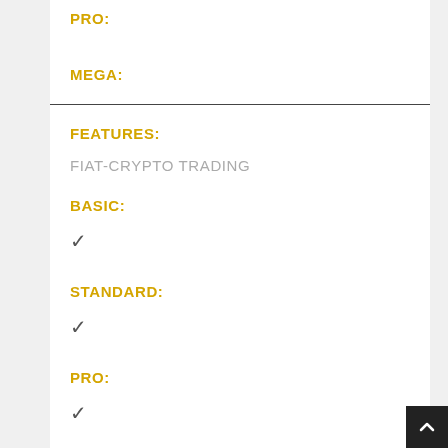PRO:
MEGA:
FEATURES:
FIAT-CRYPTO TRADING
BASIC:
✔
STANDARD:
✔
PRO:
✔
MEGA:
✔